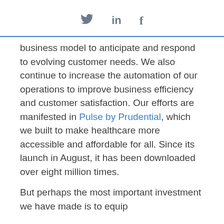[Figure (other): Social media share icons: Twitter bird, LinkedIn 'in', Facebook 'f']
business model to anticipate and respond to evolving customer needs. We also continue to increase the automation of our operations to improve business efficiency and customer satisfaction. Our efforts are manifested in Pulse by Prudential, which we built to make healthcare more accessible and affordable for all. Since its launch in August, it has been downloaded over eight million times.
But perhaps the most important investment we have made is to equip